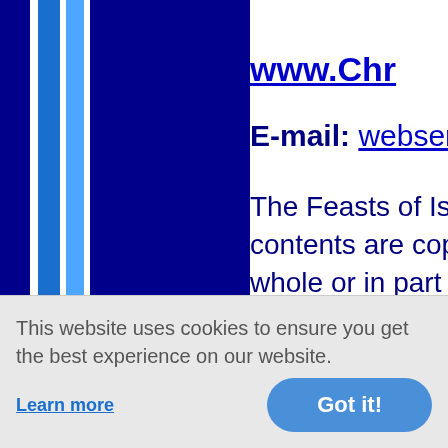[Figure (illustration): Left decorative sidebar with dark navy, medium blue, and light blue vertical stripes, with a camera icon overlay in the lower portion]
www.Chr
E-mail: webserva
The Feasts of Israel Bible study contents are copyright protected and whole or in part without express w
Copyright © 2000
WEBSITE CREATED
This website uses cookies to ensure you get the best experience on our website.
Learn more
Got it!